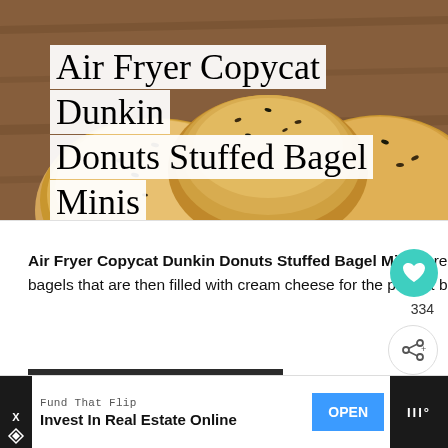[Figure (photo): Photo of stuffed bagel minis on a wooden board, topped with sesame seeds, golden brown]
Air Fryer Copycat Dunkin Donuts Stuffed Bagel Minis
Air Fryer Copycat Dunkin Donuts Stuffed Bagel Minis are 2 ingredient bagels that are then filled with cream cheese for the perfect breakfast snack.
Get the Recipe
334
WHAT'S NEXT → Air Fryer Roasted...
Fund That Flip
Invest In Real Estate Online
OPEN